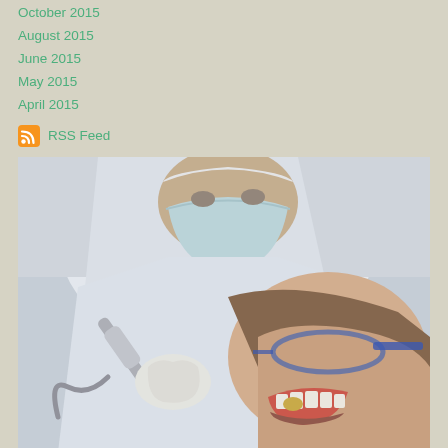October 2015
August 2015
June 2015
May 2015
April 2015
RSS Feed
[Figure (photo): A dentist wearing a surgical mask and white coat using a dental drill tool on a female patient who is wearing protective glasses and has her mouth open. The patient is reclined in a dental chair. Close-up clinical setting.]
DENTAL COURSE & COLLEGE